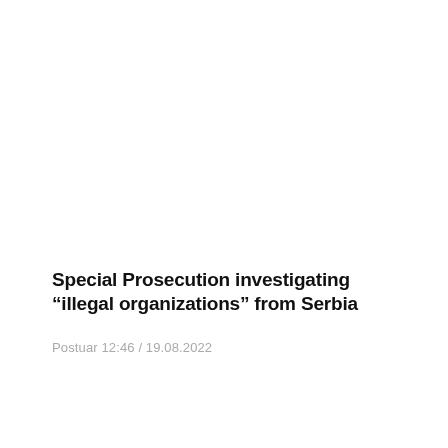Special Prosecution investigating “illegal organizations” from Serbia
Postuar 12:46 / 19.08.2022